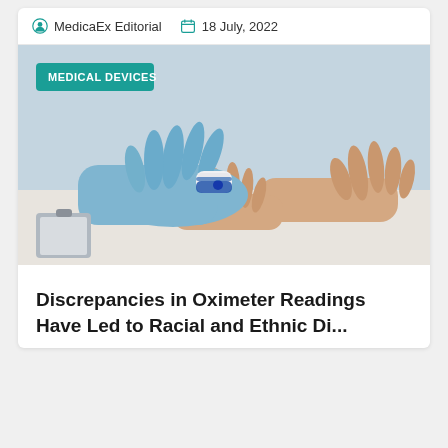MedicaEx Editorial  18 July, 2022
[Figure (photo): A gloved hand (blue latex glove) placing a pulse oximeter on a patient's finger, with patient's other hand resting on a white surface. A clipboard is visible in the lower left. A teal badge reads MEDICAL DEVICES.]
Discrepancies in Oximeter Readings Have Led to Racial and Ethnic Di...